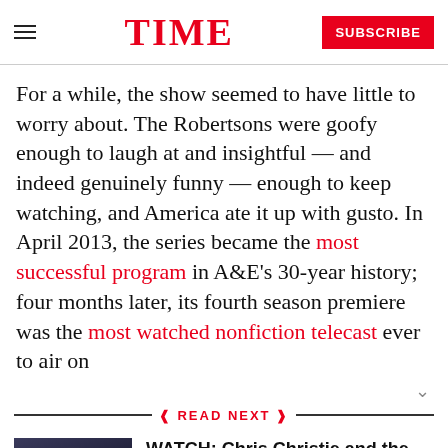TIME
For a while, the show seemed to have little to worry about. The Robertsons were goofy enough to laugh at and insightful — and indeed genuinely funny — enough to keep watching, and America ate it up with gusto. In April 2013, the series became the most successful program in A&E's 30-year history; four months later, its fourth season premiere was the most watched nonfiction telecast ever to air on
READ NEXT
[Figure (photo): Thumbnail image of two people dancing, with a caption below]
WATCH: Chris Christie and the Evolution of Dad Dancing